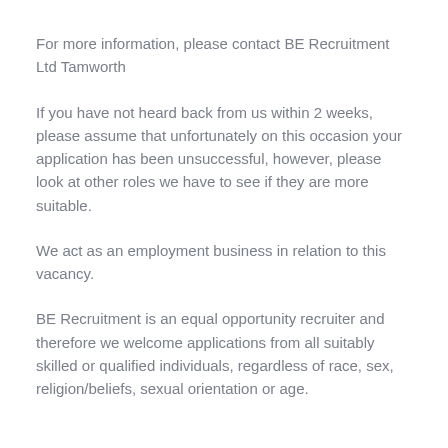For more information, please contact BE Recruitment Ltd Tamworth
If you have not heard back from us within 2 weeks, please assume that unfortunately on this occasion your application has been unsuccessful, however, please look at other roles we have to see if they are more suitable.
We act as an employment business in relation to this vacancy.
BE Recruitment is an equal opportunity recruiter and therefore we welcome applications from all suitably skilled or qualified individuals, regardless of race, sex, religion/beliefs, sexual orientation or age.